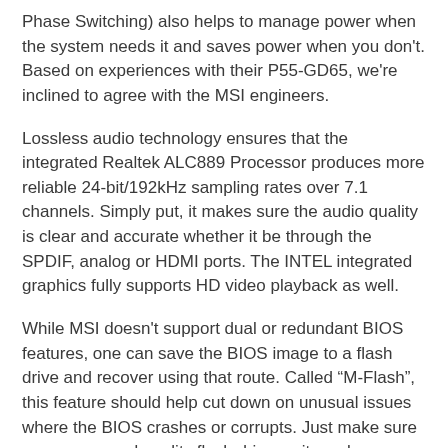Phase Switching) also helps to manage power when the system needs it and saves power when you don't. Based on experiences with their P55-GD65, we're inclined to agree with the MSI engineers.
Lossless audio technology ensures that the integrated Realtek ALC889 Processor produces more reliable 24-bit/192kHz sampling rates over 7.1 channels. Simply put, it makes sure the audio quality is clear and accurate whether it be through the SPDIF, analog or HDMI ports. The INTEL integrated graphics fully supports HD video playback as well.
While MSI doesn't support dual or redundant BIOS features, one can save the BIOS image to a flash drive and recover using that route. Called “M-Flash”, this feature should help cut down on unusual issues where the BIOS crashes or corrupts. Just make sure you use a good quality flash drive so it can be detected properly and reloaded in case of a BIOS melt down.
MSI also includes Winki which is a Linux quick boot distribution. You can boot into Winki through your DVD or USB drive to browse the web, listen to music, view photos, watch movies,